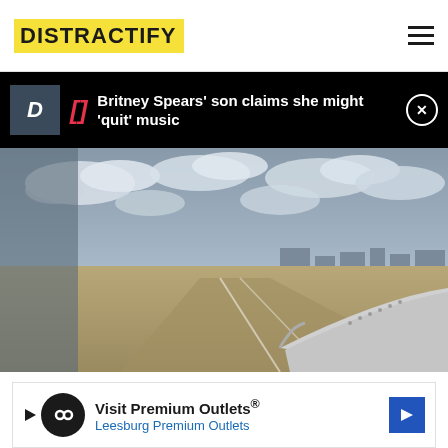DISTRACTIFY
Britney Spears' son claims she might 'quit' music
[Figure (photo): View from airplane window showing airport runway with aircraft wing visible in foreground, cloudy sky and airport terminals in background]
Visit Premium Outlets® Leesburg Premium Outlets